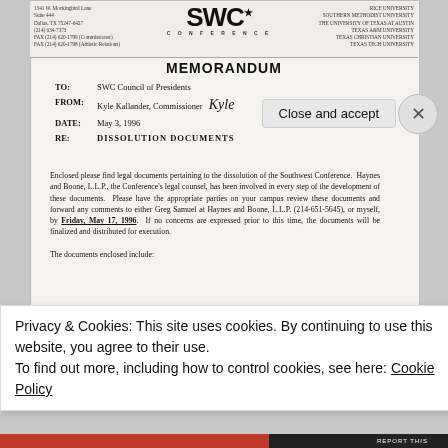SWC CONFERENCE letterhead with address: 1341 W. Mockingbird Lane, Suite 444, Dallas, TX 75247-6427, (214) 634-7373, FAX (214) 620-1799 (Commissioner), FAX (214) 620-1798 (Athletic Relations). Member universities listed on right.
MEMORANDUM
TO: SWC Council of Presidents
FROM: Kyle Kallander, Commissioner
DATE: May 3, 1996
RE: DISSOLUTION DOCUMENTS
Enclosed please find legal documents pertaining to the dissolution of the Southwest Conference. Haynes and Boone, L.L.P., the Conference's legal counsel, has been involved in every step of the development of these documents. Please have the appropriate parties on your campus review these documents and forward any comments to either Greg Samuel at Haynes and Boone, L.L.P. (214-651-5645), or myself, by Friday, May 17, 1996. If no concerns are expressed prior to this time, the documents will be finalized and distributed for execution.
The documents enclosed include:
1. Joint Unanimous Consent of Directors and Members of the Southwest Conference...